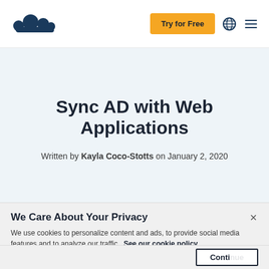SurveyMonkey logo | Try for Free button | globe icon | menu icon
Sync AD with Web Applications
Written by Kayla Coco-Stotts on January 2, 2020
We Care About Your Privacy
We use cookies to personalize content and ads, to provide social media features and to analyze our traffic. See our cookie policy.
Continue